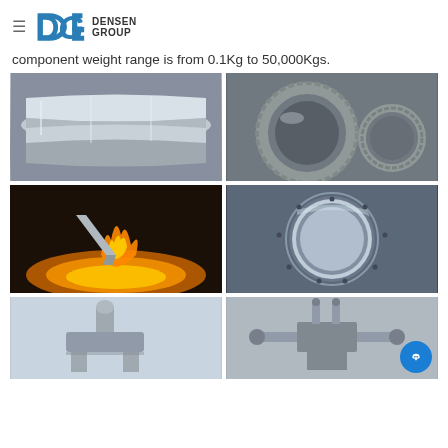Densen Group
component weight range is from 0.1Kg to 50,000Kgs.
[Figure (photo): Multiple polished steel shafts/rollers lying on a surface]
[Figure (photo): Large industrial gear rings and a spur gear on a pallet]
[Figure (photo): Hot forging process with glowing metal cone and flames]
[Figure (photo): Large precision machined ring/slewing bearing on a surface]
[Figure (photo): Cast metal component on light blue background]
[Figure (photo): Complex mechanical assembly with multiple shafts and components]